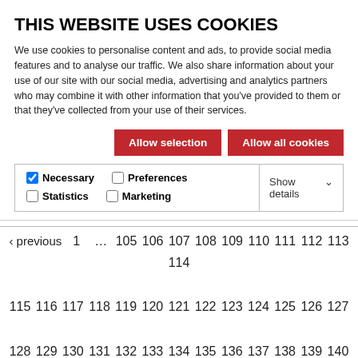THIS WEBSITE USES COOKIES
We use cookies to personalise content and ads, to provide social media features and to analyse our traffic. We also share information about your use of our site with our social media, advertising and analytics partners who may combine it with other information that you've provided to them or that they've collected from your use of their services.
Allow selection   Allow all cookies
✓ Necessary   □ Preferences   □ Statistics   □ Marketing   Show details ˅
‹ previous 1 … 105 106 107 108 109 110 111 112 113 114 115 116 117 118 119 120 121 122 123 124 125 126 127 128 129 130 131 132 133 134 135 136 137 138 139 140 141 142 143 144 145 146 147 148 149 150 151 152 153 154 155 156 157 158 159 160 161 162 163 164 165 166 167 168 169 170 171 172 173 174 175 176 177 178 179 180 181 182 183 184 185 186 187 188 189 190 191 192 193 194 195 196 197 198 199 200 201 202 203 … 231 next ›